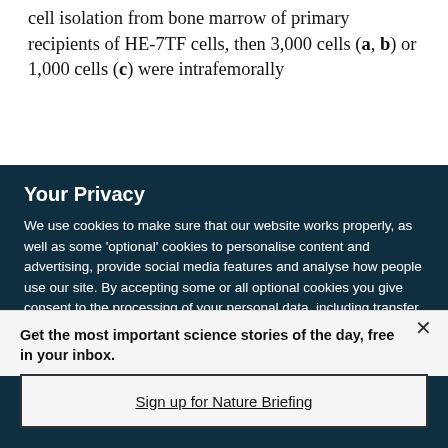cell isolation from bone marrow of primary recipients of HE-7TF cells, then 3,000 cells (a, b) or 1,000 cells (c) were intrafemorally
Your Privacy
We use cookies to make sure that our website works properly, as well as some 'optional' cookies to personalise content and advertising, provide social media features and analyse how people use our site. By accepting some or all optional cookies you give consent to the processing of your personal data, including transfer to third parties, some in countries outside of the European Economic Area that do not offer the same data protection standards as the country where you live. You can decide which optional cookies to accept by clicking on 'Manage Settings', where you can
Get the most important science stories of the day, free in your inbox.
Sign up for Nature Briefing